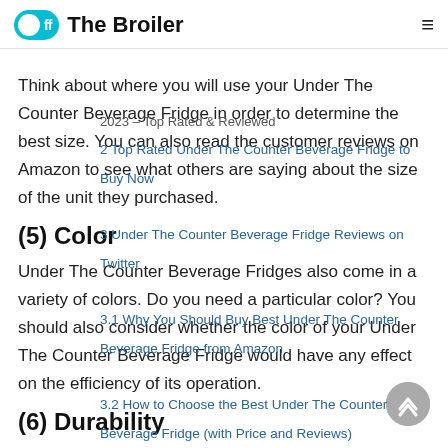off The Broiler
Think about where you will use your Under The Counter Beverage Fridge in order to determine the best size. You can also read the customer reviews on Amazon to see what others are saying about the size of the unit they purchased.
(5) Color
Under The Counter Beverage Fridges also come in a variety of colors. Do you need a particular color? You should also consider whether the color of your Under The Counter Beverage Fridge would have any effect on the efficiency of its operation.
(6) Durability